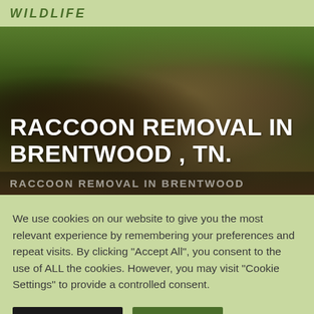WILDLIFE
[Figure (photo): Raccoon near a log with green vegetation in background — hero image for wildlife removal webpage]
RACCOON REMOVAL IN BRENTWOOD , TN.
RACCOON REMOVAL IN BRENTWOOD
We use cookies on our website to give you the most relevant experience by remembering your preferences and repeat visits. By clicking “Accept All”, you consent to the use of ALL the cookies. However, you may visit "Cookie Settings" to provide a controlled consent.
Cookie Settings | Accept All